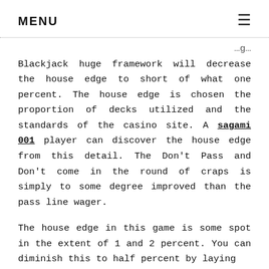MENU ≡
Blackjack huge framework will decrease the house edge to short of what one percent. The house edge is chosen the proportion of decks utilized and the standards of the casino site. A sagami 001 player can discover the house edge from this detail. The Don't Pass and Don't come in the round of craps is simply to some degree improved than the pass line wager.
The house edge in this game is some spot in the extent of 1 and 2 percent. You can diminish this to half percent by laying